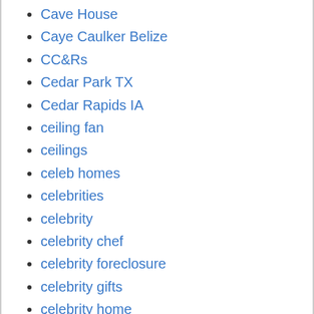Cave House
Caye Caulker Belize
CC&Rs
Cedar Park TX
Cedar Rapids IA
ceiling fan
ceilings
celeb homes
celebrities
celebrity
celebrity chef
celebrity foreclosure
celebrity gifts
celebrity home
celebrity homes
Celebrity IOU
Celebrity Real Estate
celebrity rental
celebrity rentals